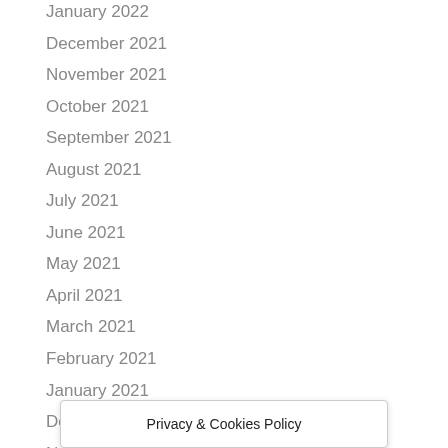January 2022
December 2021
November 2021
October 2021
September 2021
August 2021
July 2021
June 2021
May 2021
April 2021
March 2021
February 2021
January 2021
December 2020
November
Privacy & Cookies Policy